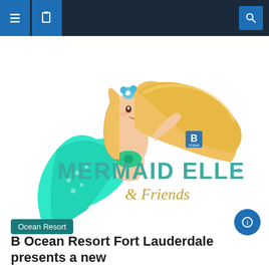Navigation bar with menu icons and search
[Figure (logo): Mermaid Elle & Friends logo featuring a cartoon mermaid with long blonde hair, teal tail, and the text 'Mermaid Elle & Friends' with a B Ocean brand mark]
Ocean Resort
B Ocean Resort Fort Lauderdale presents a new